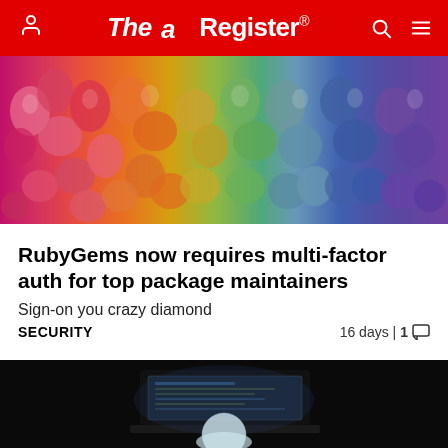The Register
[Figure (photo): Colorful gemstones arranged in a rainbow spectrum from red/pink on the left through orange, yellow, green, blue to purple on the right]
RubyGems now requires multi-factor auth for top package maintainers
Sign-on you crazy diamond
SECURITY   16 days | 1
[Figure (photo): Dark image showing a person at a computer/laptop with a glowing screen, suggesting hacking or cybersecurity context]